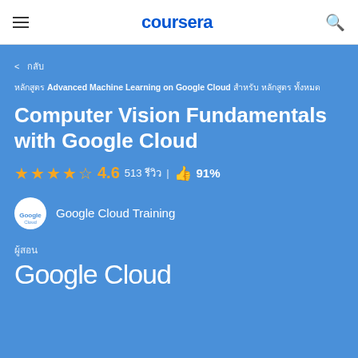coursera
< กลับ
หลักสูตร Advanced Machine Learning on Google Cloud สำหรับ หลักสูตร ทั้งหมด
Computer Vision Fundamentals with Google Cloud
★★★★☆ 4.6   513 รีวิว  |  👍 91%
Google Cloud Training
ผู้สอน
Google Cloud